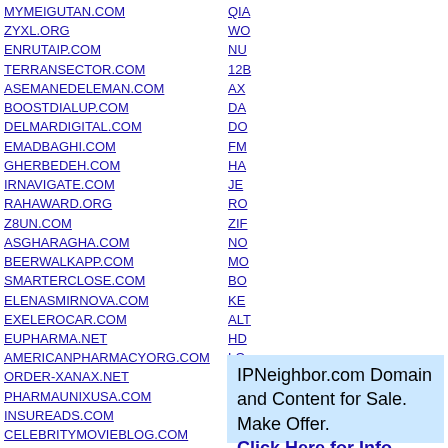MYMEIGUTAN.COM
ZYXL.ORG
ENRUTAIP.COM
TERRANSECTOR.COM
ASEMANEDELEMAN.COM
BOOSTDIALUP.COM
DELMARDIGITAL.COM
EMADBAGHI.COM
GHERBEDEH.COM
IRNAVIGATE.COM
RAHAWARD.ORG
Z8UN.COM
ASGHARAGHA.COM
BEERWALKAPP.COM
SMARTERCLOSE.COM
ELENASMIRNOVA.COM
EXELEROCAR.COM
EUPHARMA.NET
AMERICANPHARMACYORG.COM
ORDER-XANAX.NET
PHARMAUNIXUSA.COM
INSUREADS.COM
CELEBRITYMOVIEBLOG.COM
EXPOSED-CELEBRITIES.NET
CELEBRITY-MOVIE-DATABASE.COM
MRSKIN-CELEBS.COM
ALIASNESS.COM
THEMECHANICBEKNOWING.COM
QIA...
WO...
NU...
12B...
AX...
DA...
DC...
FM...
HA...
JE...
RO...
ZIF...
NO...
MO...
BO...
KE...
ALT...
HD...
LO...
UN...
UN...
AM...
ALI...
IPNeighbor.com Domain and Content for Sale. Make Offer. Click Here for Info